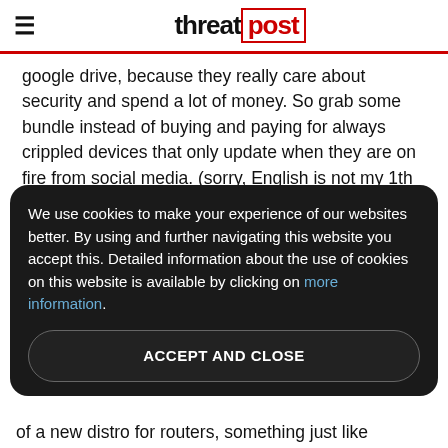threatpost
google drive, because they really care about security and spend a lot of money. So grab some bundle instead of buying and paying for always crippled devices that only update when they are on fire from social media. (sorry, English is not my 1th language)
ogkush on January 30, 2022
I would like to share a story. In the past, a group
We use cookies to make your experience of our websites better. By using and further navigating this website you accept this. Detailed information about the use of cookies on this website is available by clicking on more information.
ACCEPT AND CLOSE
of a new distro for routers, something just like